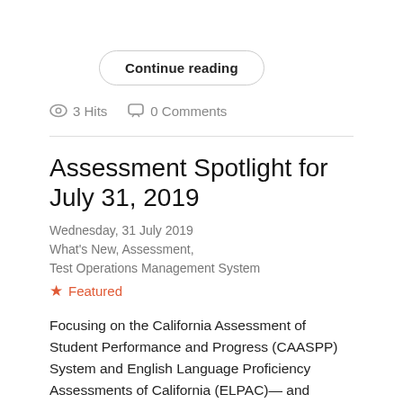Continue reading
3 Hits   0 Comments
Assessment Spotlight for July 31, 2019
Wednesday, 31 July 2019
What's New, Assessment,
Test Operations Management System
Featured
Focusing on the California Assessment of Student Performance and Progress (CAASPP) System and English Language Proficiency Assessments of California (ELPAC)—and including, when timely, updates on California's other statewide assessments. Accessing Individual Student Score Reports in TOMS Local educational agency (LEA) CAASPP and ELPAC coordinators can access, print, or save an individual 2018–19 Student Score Report (SSR) through the Test Operations Management System (TOMS). To download